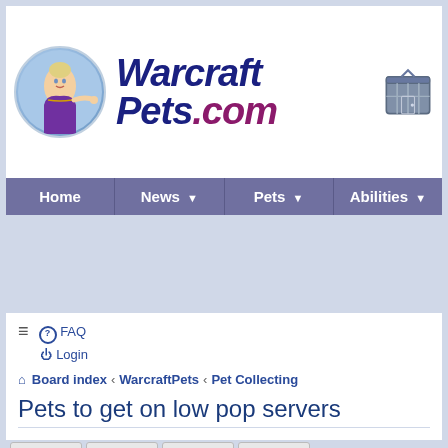[Figure (logo): WarcraftPets.com logo with a fantasy female character in a circle on the left, large blue italic text 'WarcraftPets' and purple italic text '.com' to the right, and a small pet cage on the far right]
[Figure (infographic): Navigation bar with four items: Home, News (with dropdown arrow), Pets (with dropdown arrow), Abilities (with dropdown arrow), on a medium purple/grey background]
[Figure (screenshot): Advertisement/blank area below navigation]
≡  ? FAQ
⏻ Login
⌂ Board index ‹ WarcraftPets ‹ Pet Collecting
Pets to get on low pop servers